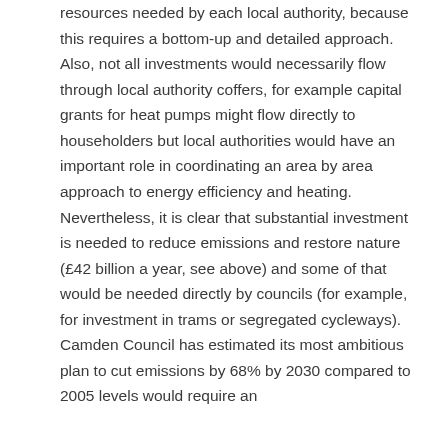resources needed by each local authority, because this requires a bottom-up and detailed approach. Also, not all investments would necessarily flow through local authority coffers, for example capital grants for heat pumps might flow directly to householders but local authorities would have an important role in coordinating an area by area approach to energy efficiency and heating. Nevertheless, it is clear that substantial investment is needed to reduce emissions and restore nature (£42 billion a year, see above) and some of that would be needed directly by councils (for example, for investment in trams or segregated cycleways). Camden Council has estimated its most ambitious plan to cut emissions by 68% by 2030 compared to 2005 levels would require an